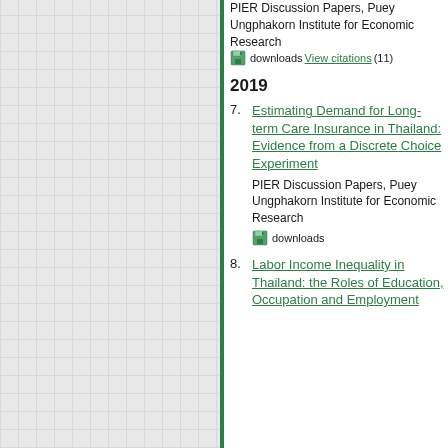[Figure (other): Left panel with grid/checkerboard background pattern and green left border]
PIER Discussion Papers, Puey Ungphakorn Institute for Economic Research downloads View citations (11)
2019
7. Estimating Demand for Long-term Care Insurance in Thailand: Evidence from a Discrete Choice Experiment — PIER Discussion Papers, Puey Ungphakorn Institute for Economic Research downloads
8. Labor Income Inequality in Thailand: the Roles of Education, Occupation and Employment